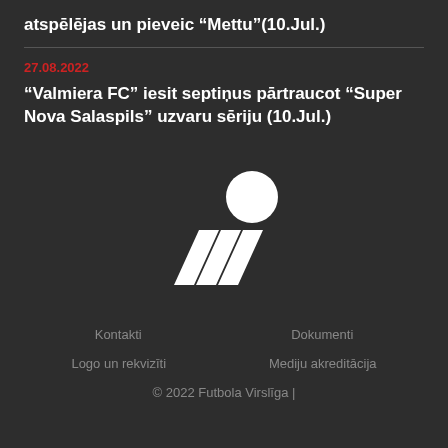atspēlējas un pieveic "Mettu"(10.Jul.)
27.08.2022
"Valmiera FC" iesit septiņus pārtraucot "Super Nova Salaspils" uzvaru sēriju (10.Jul.)
[Figure (logo): Futbola Virslīga logo - white chevron/arrow shape with circle on dark background]
Kontakti
Dokumenti
Logo un rekvizīti
Mediju akreditācija
© 2022 Futbola Virslīga |